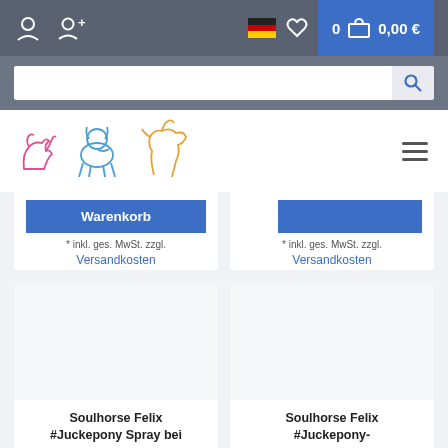Navigation bar with user icons, German flag, wishlist, cart (0, 0,00 €)
[Figure (screenshot): Search bar with input field and search icon]
[Figure (logo): Soulhorse logo with animal outlines (pink cat/dog, blue dog, orange horse)]
Warenkorb
* inkl. ges. MwSt. zzgl. Versandkosten
* inkl. ges. MwSt. zzgl. Versandkosten
Soulhorse Felix #Juckepony Spray bei
Soulhorse Felix #Juckepony-